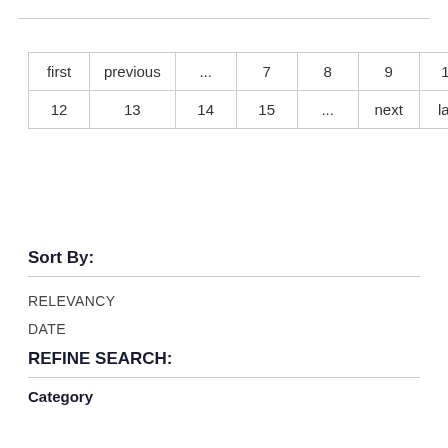| first | previous | ... | 7 | 8 | 9 | 10 | 11 |
| 12 | 13 | 14 | 15 | ... | next | last |
Sort By:
RELEVANCY
DATE
REFINE SEARCH:
Category